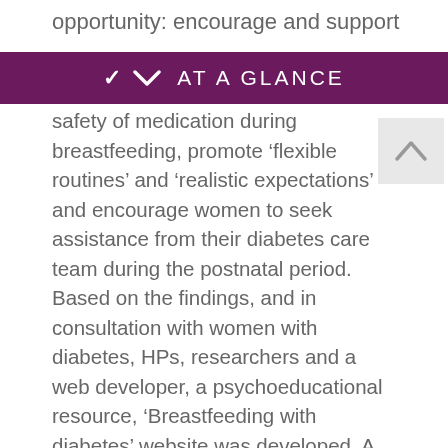opportunity: encourage and support
AT A GLANCE
safety of medication during breastfeeding, promote ‘flexible routines’ and ‘realistic expectations’ and encourage women to seek assistance from their diabetes care team during the postnatal period. Based on the findings, and in consultation with women with diabetes, HPs, researchers and a web developer, a psychoeducational resource, ‘Breastfeeding with diabetes’ website was developed. A private Facebook group was also established and linked to the website to facilitate peer and expert breastfeeding and diabetes